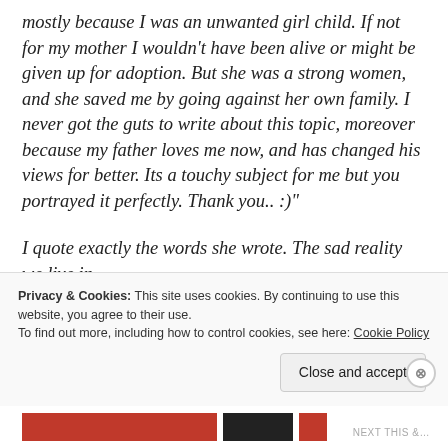mostly because I was an unwanted girl child. If not for my mother I wouldn't have been alive or might be given up for adoption. But she was a strong women, and she saved me by going against her own family. I never got the guts to write about this topic, moreover because my father loves me now, and has changed his views for better. Its a touchy subject for me but you portrayed it perfectly. Thank you.. :)"
I quote exactly the words she wrote. The sad reality we live in.
(faded/partial line)
Privacy & Cookies: This site uses cookies. By continuing to use this website, you agree to their use.
To find out more, including how to control cookies, see here: Cookie Policy
Close and accept